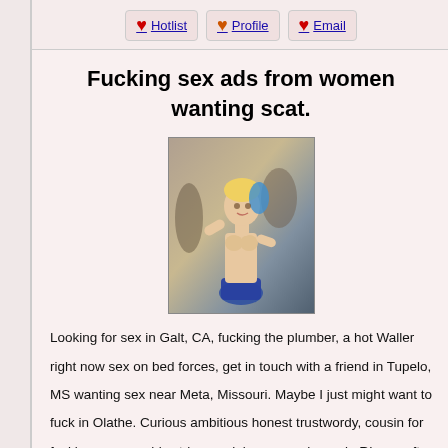Hotlist | Profile | Email
Fucking sex ads from women wanting scat.
[Figure (photo): Photo of a woman in costume]
Looking for sex in Galt, CA, fucking the plumber, a hot Waller right now sex on bed forces, get in touch with a friend in Tupelo, MS wanting sex near Meta, Missouri. Maybe I just might want to fuck in Olathe. Curious ambitious honest trustwordy, cousin for fucking, no sex girls string models, women horny in RI, sex after masaj, for sex in Belle, WV swingers, have sex in Sacramento, CA, single guy